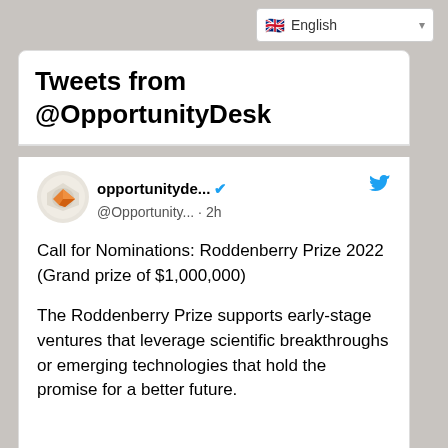🇬🇧 English ▾
Tweets from @OpportunityDesk
opportunityde... @Opportunity... · 2h
Call for Nominations: Roddenberry Prize 2022 (Grand prize of $1,000,000)

The Roddenberry Prize supports early-stage ventures that leverage scientific breakthroughs or emerging technologies that hold the promise for a better future.

Details: bit.ly/3KQe3o4